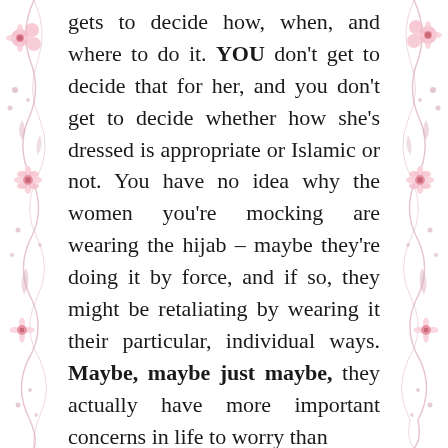[Figure (illustration): Decorative pink floral and swirl border on the left side of the page]
[Figure (illustration): Decorative pink floral and swirl border on the right side of the page]
gets to decide how, when, and where to do it. YOU don't get to decide that for her, and you don't get to decide whether how she's dressed is appropriate or Islamic or not. You have no idea why the women you're mocking are wearing the hijab – maybe they're doing it by force, and if so, they might be retaliating by wearing it their particular, individual ways. Maybe, maybe just maybe, they actually have more important concerns in life to worry than